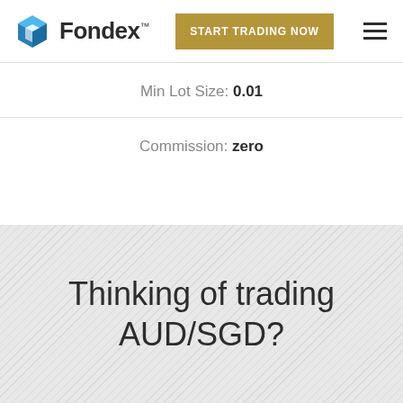Fondex — START TRADING NOW
Min Lot Size: 0.01
Commission: zero
Thinking of trading AUD/SGD?